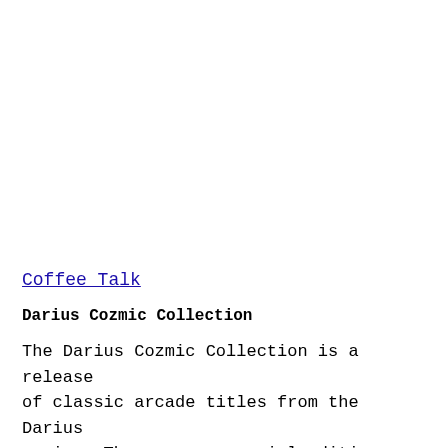Coffee Talk
Darius Cozmic Collection
The Darius Cozmic Collection is a release of classic arcade titles from the Darius series. There was a special edition that came with console ports also, but it was snapped up by everyone. The base game, however, is more accessible and is a must-